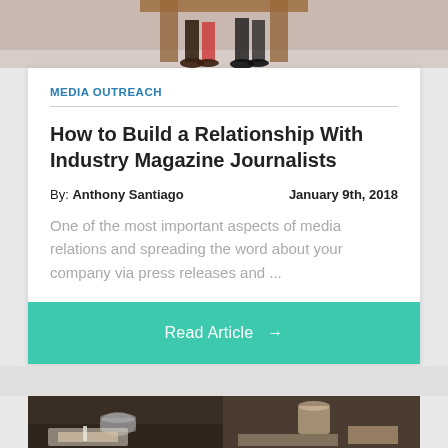[Figure (photo): Top portion of photo showing people seated, legs visible, in front of a wooden bench/table]
MEDIA OUTREACH
How to Build a Relationship With Industry Magazine Journalists
By: Anthony Santiago    January 9th, 2018
One of the most important aspects of media relations and spreading the word about your company via press releases and ...
Read Article →
[Figure (photo): Bottom photo showing people at a meeting/coffee table with cups and papers, split composition]